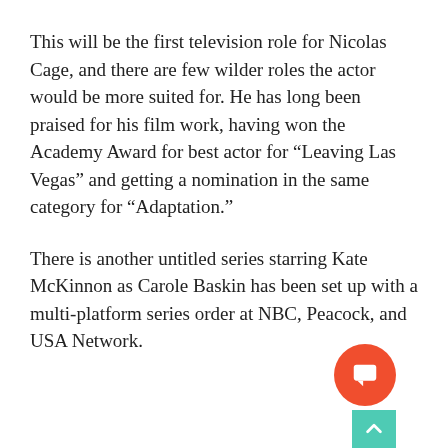This will be the first television role for Nicolas Cage, and there are few wilder roles the actor would be more suited for. He has long been praised for his film work, having won the Academy Award for best actor for “Leaving Las Vegas” and getting a nomination in the same category for “Adaptation.”
There is another untitled series starring Kate McKinnon as Carole Baskin has been set up with a multi-platform series order at NBC, Peacock, and USA Network.
[Figure (other): Orange circular chat/comment button with white speech bubble icon, and a teal/green scroll-to-top button beneath it in the bottom-right corner.]